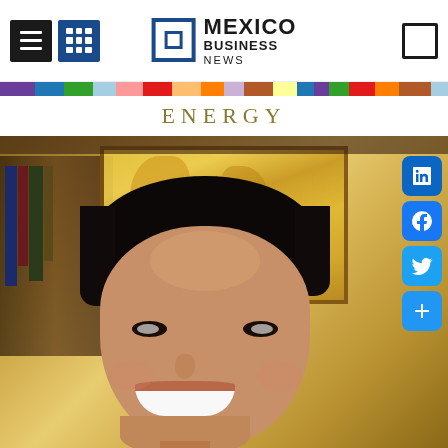Mexico Business News — navigation header with hamburger menu, grid menu, logo, and bookmark icon
ENERGY
[Figure (photo): Portrait photo of a young man in a suit, smiling, with a bookshelf and artwork in the background. Social media share icons (LinkedIn, Facebook, Twitter, Share) are overlaid on the right side.]